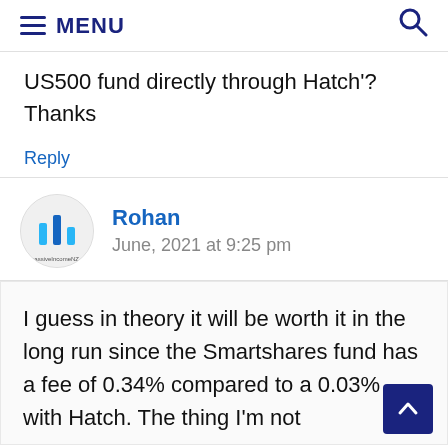MENU
US500 fund directly through Hatch'? Thanks
Reply
Rohan
June, 2021 at 9:25 pm
I guess in theory it will be worth it in the long run since the Smartshares fund has a fee of 0.34% compared to a 0.03% with Hatch. The thing I'm not